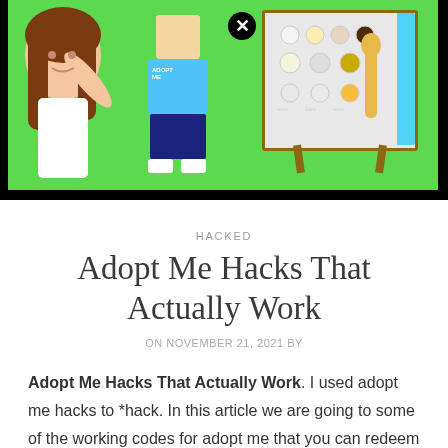[Figure (screenshot): Promotional screenshot for 'Adopt Me Hacks' showing a girl on the left, a Roblox character in the center wearing a blue outfit, and a board on the right displaying various virtual pets/animals on a green background. A black close (X) button is visible at the top center.]
HACKED
Adopt Me Hacks That Actually Work
ON NOVEMBER 21, 2021 BY
Adopt Me Hacks That Actually Work. I used adopt me hacks to *hack. In this article we are going to some of the working codes for adopt me that you can redeem instantly and enjoy.